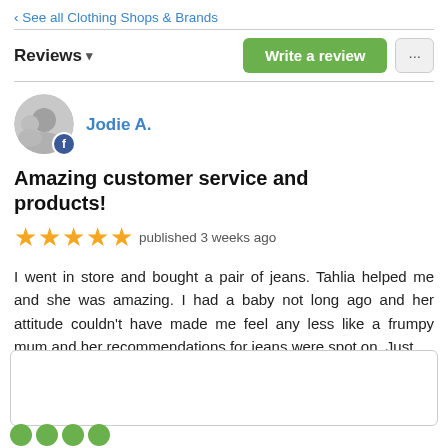‹ See all Clothing Shops & Brands
Reviews ▾
Write a review
[Figure (photo): Circular avatar photo of a woman with a child, with a Facebook badge overlay]
Jodie A.
Amazing customer service and products!
★★★★★ published 3 weeks ago
I went in store and bought a pair of jeans. Tahlia helped me and she was amazing. I had a baby not long ago and her attitude couldn't have made me feel any less like a frumpy mum and her recommendations for jeans were spot on. Just